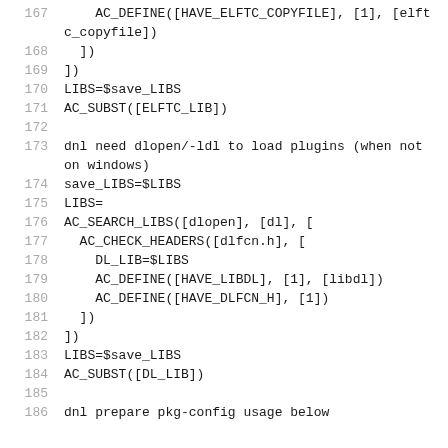Code listing lines 167-186 of a configure.ac build script
167     AC_DEFINE([HAVE_ELFTC_COPYFILE], [1], [elftc_copyfile])
168       ])
169     ])
170     LIBS=$save_LIBS
171     AC_SUBST([ELFTC_LIB])
172
173     dnl need dlopen/-ldl to load plugins (when not on windows)
174     save_LIBS=$LIBS
175     LIBS=
176     AC_SEARCH_LIBS([dlopen], [dl], [
177       AC_CHECK_HEADERS([dlfcn.h], [
178         DL_LIB=$LIBS
179         AC_DEFINE([HAVE_LIBDL], [1], [libdl])
180         AC_DEFINE([HAVE_DLFCN_H], [1])
181       ])
182     ])
183     LIBS=$save_LIBS
184     AC_SUBST([DL_LIB])
185
186     dnl prepare pkg-config usage below